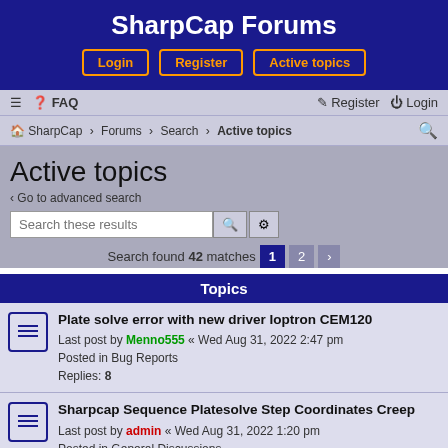SharpCap Forums
Active topics
Search found 42 matches
Topics
Plate solve error with new driver Ioptron CEM120
Last post by Menno555 « Wed Aug 31, 2022 2:47 pm
Posted in Bug Reports
Replies: 8
Sharpcap Sequence Platesolve Step Coordinates Creep
Last post by admin « Wed Aug 31, 2022 1:20 pm
Posted in General Discussions
Replies: 2
Feature Tracking for DSO
Last post by admin « Wed Aug 31, 2022 1:11 pm